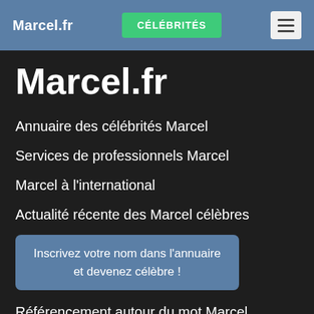Marcel.fr | CÉLÉBRITÉS | ☰
Marcel.fr
Annuaire des célébrités Marcel
Services de professionnels Marcel
Marcel à l'international
Actualité récente des Marcel célèbres
Inscrivez votre nom dans l'annuaire et devenez célèbre !
Référencement autour du mot Marcel